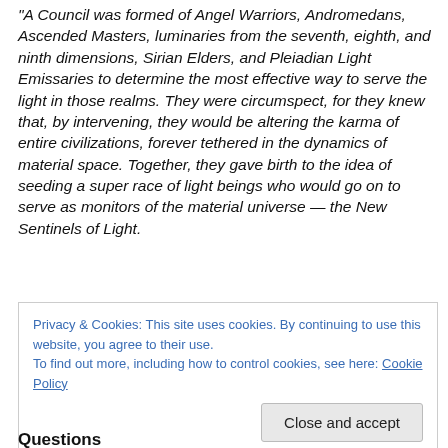“A Council was formed of Angel Warriors, Andromedans, Ascended Masters, luminaries from the seventh, eighth, and ninth dimensions, Sirian Elders, and Pleiadian Light Emissaries to determine the most effective way to serve the light in those realms. They were circumspect, for they knew that, by intervening, they would be altering the karma of entire civilizations, forever tethered in the dynamics of material space. Together, they gave birth to the idea of seeding a super race of light beings who would go on to serve as monitors of the material universe — the New Sentinels of Light.
Privacy & Cookies: This site uses cookies. By continuing to use this website, you agree to their use. To find out more, including how to control cookies, see here: Cookie Policy
Close and accept
Questions